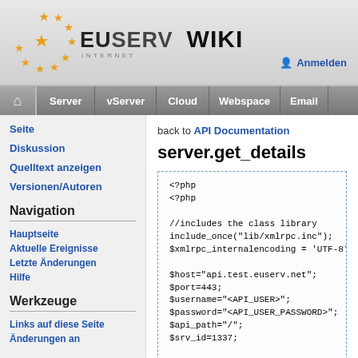[Figure (logo): EUserv Internet Wiki logo with orange stars arranged in a circle]
Anmelden
Server | vServer | Cloud | Webspace | Email
Seite
Diskussion
Quelltext anzeigen
Versionen/Autoren
Navigation
Hauptseite
Aktuelle Ereignisse
Letzte Änderungen
Hilfe
Werkzeuge
Links auf diese Seite
Änderungen an
back to API Documentation
server.get_details
<?php
<?php

//includes the class library
include_once("lib/xmlrpc.inc");
$xmlrpc_internalencoding = 'UTF-8'

$host="api.test.euserv.net";
$port=443;
$username="<API_USER>";
$password="<API_USER_PASSWORD>";
$api_path="/";
$srv_id=1337;

//defines the function